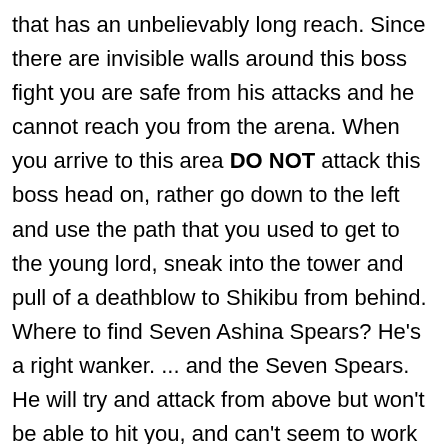that has an unbelievably long reach. Since there are invisible walls around this boss fight you are safe from his attacks and he cannot reach you from the arena. When you arrive to this area DO NOT attack this boss head on, rather go down to the left and use the path that you used to get to the young lord, sneak into the tower and pull of a deathblow to Shikibu from behind. Where to find Seven Ashina Spears? He's a right wanker. ... and the Seven Spears. He will try and attack from above but won't be able to hit you, and can't seem to work out how the stairs work. Really hard fight, and I think I would like it quite a bit, if he didn't do so much damage. Shizugatake (囲炉裏 Shizugatake), also know as Scorching Iron Prison, is one of the maximum-security prison of Earth Land. Seven Ashina Spears – Shikibu Toshikatsu Yamauchi — or simply Seven Ashina Spears for sort-of-short — is a ridiculously-long-